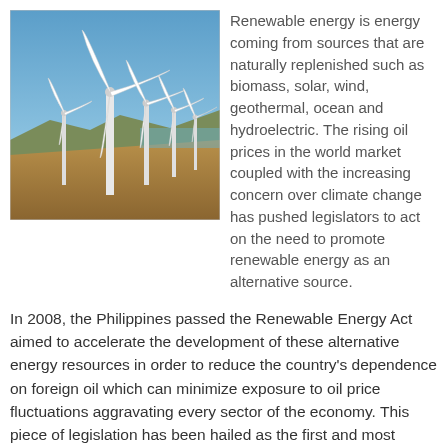[Figure (photo): Photograph of multiple large white wind turbines on a coastal hillside landscape under a blue sky]
Renewable energy is energy coming from sources that are naturally replenished such as biomass, solar, wind, geothermal, ocean and hydroelectric. The rising oil prices in the world market coupled with the increasing concern over climate change has pushed legislators to act on the need to promote renewable energy as an alternative source.
In 2008, the Philippines passed the Renewable Energy Act aimed to accelerate the development of these alternative energy resources in order to reduce the country's dependence on foreign oil which can minimize exposure to oil price fluctuations aggravating every sector of the economy. This piece of legislation has been hailed as the first and most comprehensive in Asia. The inflow of investments demonstrate just how it achieves the goals it